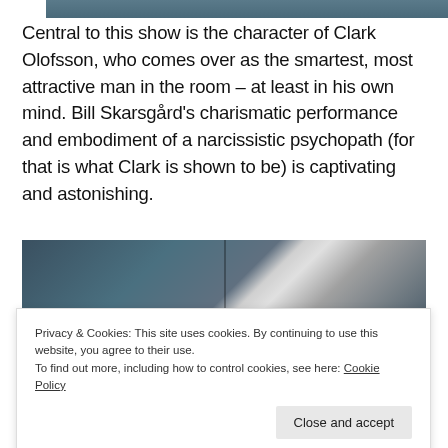[Figure (photo): Partial view of a photo showing people, partially cropped at top of page]
Central to this show is the character of Clark Olofsson, who comes over as the smartest, most attractive man in the room – at least in his own mind. Bill Skarsgård's charismatic performance and embodiment of a narcissistic psychopath (for that is what Clark is shown to be) is captivating and astonishing.
[Figure (photo): Photo of two people (man with long hair on left, woman on right) facing each other with white smoke/clouds in background]
Privacy & Cookies: This site uses cookies. By continuing to use this website, you agree to their use.
To find out more, including how to control cookies, see here: Cookie Policy
Close and accept